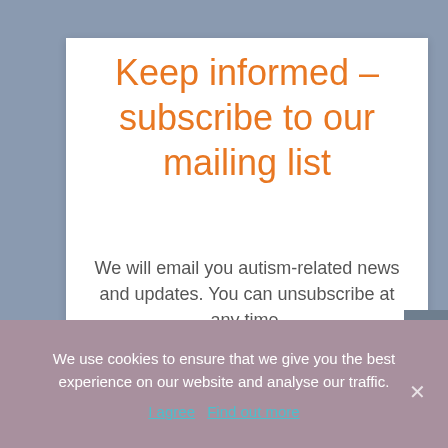Keep informed – subscribe to our mailing list
We will email you autism-related news and updates. You can unsubscribe at any time.
[Figure (other): Light gray input/form area placeholder box]
We use cookies to ensure that we give you the best experience on our website and analyse our traffic.
I agree  Find out more